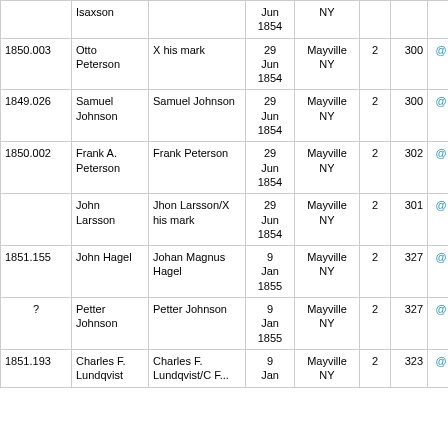|  | Name | Signature | Date | Location | Vol | Page |  | Cert Date |
| --- | --- | --- | --- | --- | --- | --- | --- | --- |
|  | Isaxson |  | Jun 1854 | NY |  |  |  |  |
| 1850.003 | Otto Peterson | X his mark | 29 Jun 1854 | Mayville NY | 2 | 300 | @ | 25 Jul 1856 |
| 1849.026 | Samuel Johnson | Samuel Johnson | 29 Jun 1854 | Mayville NY | 2 | 300 | @ | 25 Jul 1856 |
| 1850.002 | Frank A. Peterson | Frank Peterson | 29 Jun 1854 | Mayville NY | 2 | 302 | @ | 24 Feb 1857 |
|  | John Larsson | Jhon Larsson/X his mark | 29 Jun 1854 | Mayville NY | 2 | 301 | @ | 27 Jul 1857 |
| 1851.155 | John Hagel | Johan Magnus Hagel | 9 Jan 1855 | Mayville NY | 2 | 327 | @ | 2 Mar 1857 |
| ? | Petter Johnson | Petter Johnson | 9 Jan 1855 | Mayville NY | 2 | 327 | @ |  |
| 1851.193 | Charles F. Lundqvist | Charles F. Lundqvist/C F... | 9 Jan | Mayville NY | 2 | 323 | @ | 27 Jul 1857 |